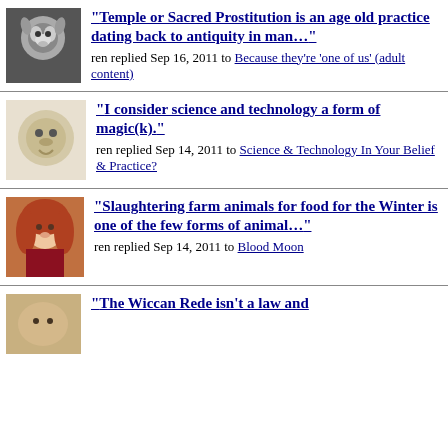"Temple or Sacred Prostitution is an age old practice dating back to antiquity in man…" ren replied Sep 16, 2011 to Because they're 'one of us' (adult content)
"I consider science and technology a form of magic(k)." ren replied Sep 14, 2011 to Science & Technology In Your Belief & Practice?
"Slaughtering farm animals for food for the Winter is one of the few forms of animal…" ren replied Sep 14, 2011 to Blood Moon
"The Wiccan Rede isn't a law and